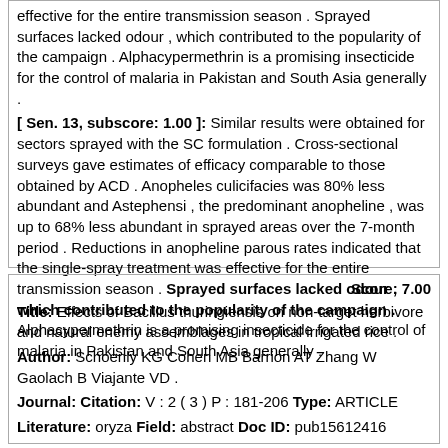effective for the entire transmission season . Sprayed surfaces lacked odour , which contributed to the popularity of the campaign . Alphacypermethrin is a promising insecticide for the control of malaria in Pakistan and South Asia generally . [ Sen. 13, subscore: 1.00 ]: Similar results were obtained for sectors sprayed with the SC formulation . Cross-sectional surveys gave estimates of efficacy comparable to those obtained by ACD . Anopheles culicifacies was 80% less abundant and Astephensi , the predominant anopheline , was up to 68% less abundant in sprayed areas over the 7-month period . Reductions in anopheline parous rates indicated that the single-spray treatment was effective for the entire transmission season . Sprayed surfaces lacked odour , which contributed to the popularity of the campaign . Alphacypermethrin is a promising insecticide for the control of malaria in Pakistan and South Asia generally .
Score: 7.00
Title: Effects of Bacillus thuringiensis on non-target herbivore and natural enemy assemblages in tropical irrigated rice .
Author: Schoenly KG Cohen MB Barrion AT Zhang W Gaolach B Viajante VD .
Journal: Citation: V : 2 ( 3 ) P : 181-206 Type: ARTICLE
Literature: oryza Field: abstract Doc ID: pub15612416
Abstract: Endotoxins from Bacillus thuringiensis ( Bt ) produced in transgenic pest-resistant Bt crops are generally not toxic to predatory and parasitic arthropods . However , elimination of Bt-susceptible prey and hosts in Bt crops could reduce predator and parasitoid abundance and thereby disrupt biological control of other herbivorous pests . Here we report results of a field study evaluating the effects of Bt sprays on